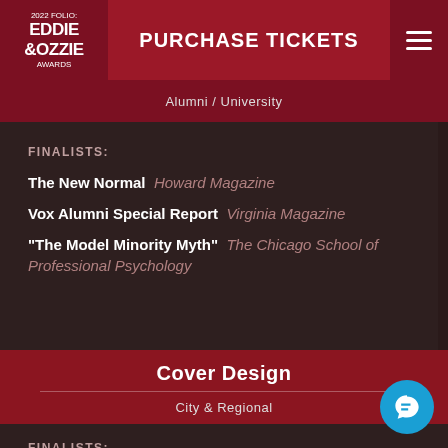2022 FOLIO: EDDIE OZZIE AWARDS | PURCHASE TICKETS
Alumni / University
FINALISTS:
The New Normal  Howard Magazine
Vox Alumni Special Report  Virginia Magazine
"The Model Minority Myth"  The Chicago School of Professional Psychology
Cover Design
City & Regional
FINALISTS:
CTC&G (Connecticut Cottages and Gardens) February 2022 Cover  C&G Media Group
Cincinnati Magazine  Cincinnati Magazine